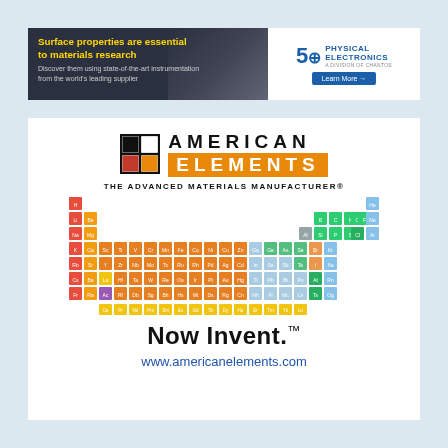[Figure (infographic): Physical Electronics banner ad: 'Surface properties are essential to materials research. Discover them using state-of-the-art instrumentation from the world's leading supplier.' with 50th anniversary logo and 'Learn More' button.]
[Figure (logo): American Elements logo with grid icon, 'AMERICAN ELEMENTS' text, tagline 'THE ADVANCED MATERIALS MANUFACTURER®', periodic table graphic, 'Now Invent.' slogan, and URL www.americanelements.com]